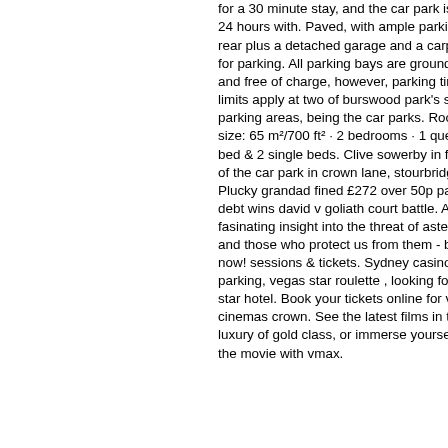for a 30 minute stay, and the car park is open 24 hours with. Paved, with ample parking at rear plus a detached garage and a carport for parking. All parking bays are ground-level and free of charge, however, parking time limits apply at two of burswood park's six car parking areas, being the car parks. Room size: 65 m²/700 ft² · 2 bedrooms · 1 queen bed &amp; 2 single beds. Clive sowerby in front of the car park in crown lane, stourbridge. Plucky grandad fined £272 over 50p parking debt wins david v goliath court battle. A fasinating insight into the threat of asteroids and those who protect us from them - book now! sessions &amp; tickets. Sydney casino parking, vegas star roulette , looking for a 3 star hotel. Book your tickets online for village cinemas crown. See the latest films in the luxury of gold class, or immerse yourself in the movie with vmax.